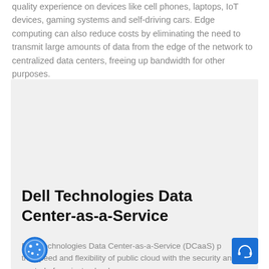quality experience on devices like cell phones, laptops, IoT devices, gaming systems and self-driving cars. Edge computing can also reduce costs by eliminating the need to transmit large amounts of data from the edge of the network to centralized data centers, freeing up bandwidth for other purposes.
[Figure (other): Gray background box representing an image placeholder]
Dell Technologies Data Center-as-a-Service
Dell Technologies Data Center-as-a-Service (DCaaS) provides the speed and flexibility of public cloud with the security and control of a private cloud.